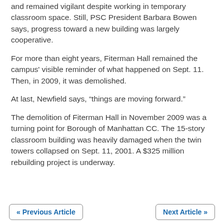and remained vigilant despite working in temporary classroom space. Still, PSC President Barbara Bowen says, progress toward a new building was largely cooperative.
For more than eight years, Fiterman Hall remained the campus' visible reminder of what happened on Sept. 11. Then, in 2009, it was demolished.
At last, Newfield says, “things are moving forward.”
The demolition of Fiterman Hall in November 2009 was a turning point for Borough of Manhattan CC. The 15-story classroom building was heavily damaged when the twin towers collapsed on Sept. 11, 2001. A $325 million rebuilding project is underway.
« Previous Article    Next Article »